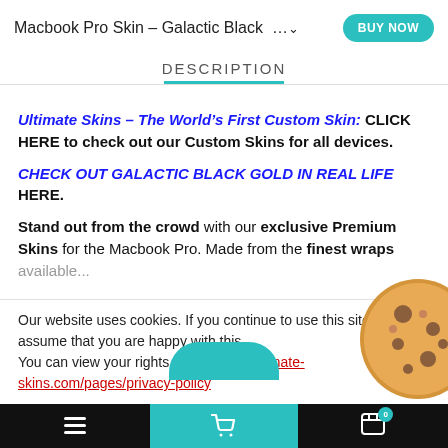Macbook Pro Skin - Galactic Black ... BUY NOW
DESCRIPTION
Ultimate Skins – The World's First Custom Skin: CLICK HERE to check out our Custom Skins for all devices.
CHECK OUT GALACTIC BLACK GOLD IN REAL LIFE HERE.
Stand out from the crowd with our exclusive Premium Skins for the Macbook Pro. Made from the finest wraps available...
Our website uses cookies. If you continue to use this site we will assume that you are happy with this. You can view your rights here: https://ultimate-skins.com/pages/privacy-policy